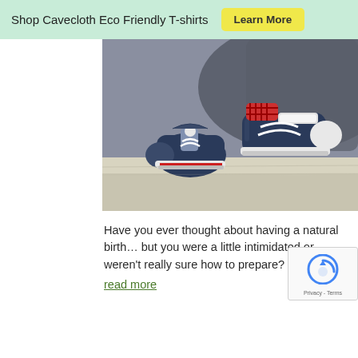Shop Cavecloth Eco Friendly T-shirts  Learn More
[Figure (photo): Two small baby sneakers (navy blue with white laces and velcro) placed on a concrete surface, photographed in close-up with a blurred background.]
Have you ever thought about having a natural birth… but you were a little intimidated or weren't really sure how to prepare? ?
read more